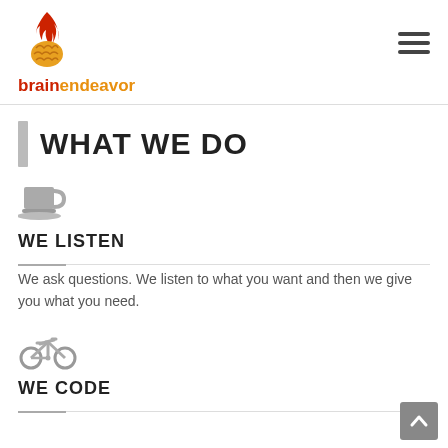[Figure (logo): Brain Endeavor logo: a flaming brain icon above the text 'brainendeavor' in red and orange]
WHAT WE DO
[Figure (illustration): Gray coffee cup icon]
WE LISTEN
We ask questions. We listen to what you want and then we give you what you need.
[Figure (illustration): Gray bicycle icon]
WE CODE